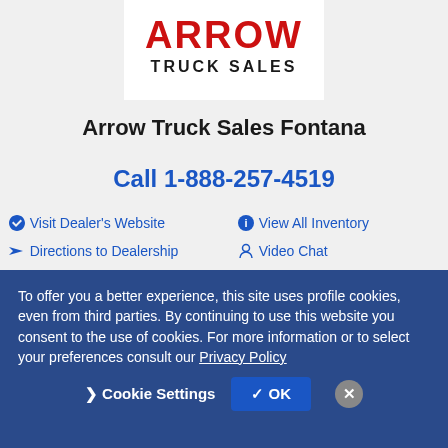[Figure (logo): Arrow Truck Sales logo with red ARROW text and black TRUCK SALES text below]
Arrow Truck Sales Fontana
Call 1-888-257-4519
Visit Dealer's Website
View All Inventory
Directions to Dealership
Video Chat
To offer you a better experience, this site uses profile cookies, even from third parties. By continuing to use this website you consent to the use of cookies. For more information or to select your preferences consult our Privacy Policy
Cookie Settings  ✓ OK